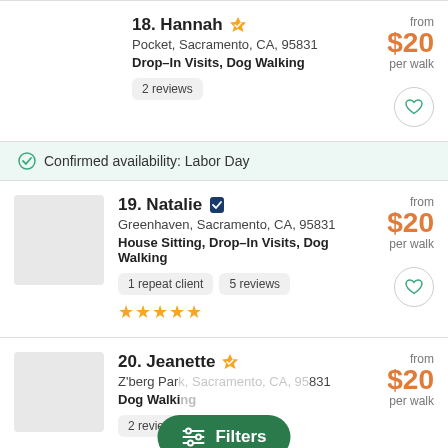18. Hannah — Pocket, Sacramento, CA, 95831 — Drop-In Visits, Dog Walking — 2 reviews — from $20 per walk
Confirmed availability: Labor Day
19. Natalie — Greenhaven, Sacramento, CA, 95831 — House Sitting, Drop-In Visits, Dog Walking — 1 repeat client — 5 reviews — 5 stars — from $20 per walk
20. Jeanette — Z'berg Park, Sacramento, CA, 95831 — Dog Walking — 2 reviews — from $20 per walk
Filters